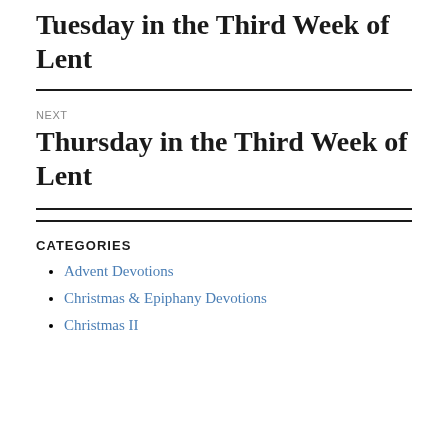Tuesday in the Third Week of Lent
NEXT
Thursday in the Third Week of Lent
CATEGORIES
Advent Devotions
Christmas & Epiphany Devotions
Christmas II